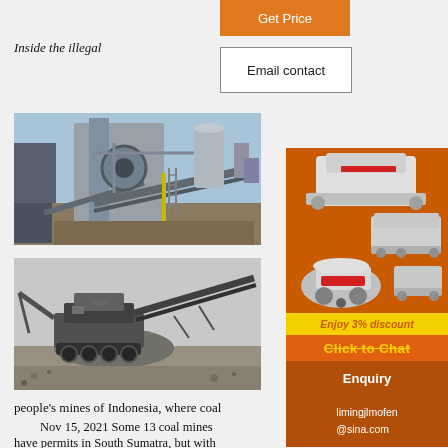[Figure (other): Orange 'Get Price' button]
Inside the illegal
[Figure (other): Email contact button with border]
[Figure (photo): Industrial mining/crushing equipment with conveyor belts, outdoor setting]
[Figure (photo): Mobile crushing/screening plant with conveyor belt in a gravel yard, black and white]
[Figure (other): Orange sidebar advertisement with mining machinery images, 'Enjoy 3% discount', 'Click to Chat', Enquiry section, and limingjlmofen@sina.com contact]
people’s mines of Indonesia, where coal
Nov 15, 2021  Some 13 coal mines
have permits in South Sumatra, but with